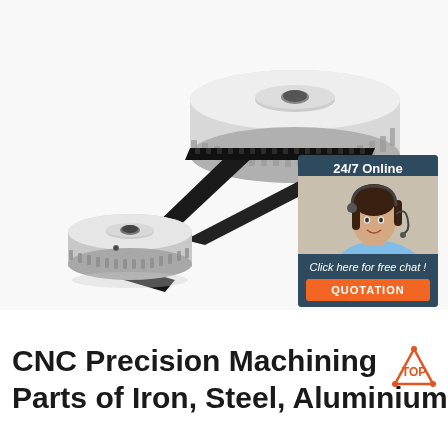[Figure (photo): CNC precision machining parts — two aluminium toothed pulleys connected by a black toothed timing belt, photographed on a white background. A customer service widget overlaid in the top-right area showing a woman with a headset, text '24/7 Online', 'Click here for free chat!', and an orange 'QUOTATION' button.]
CNC Precision Machining Parts of Iron, Steel, Aluminium